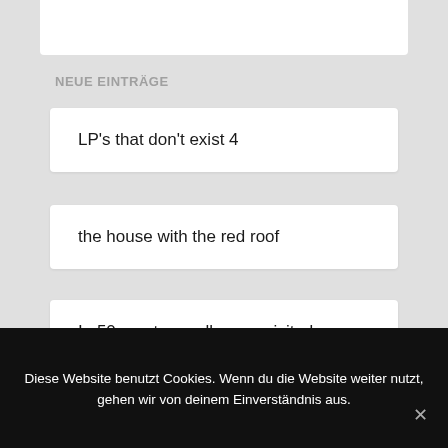NEUE EINTRÄGE
LP’s that don’t exist 4
the house with the red roof
In 50 – autumn alley – revisited
the end – r.i.p. charlie watts
Diese Website benutzt Cookies. Wenn du die Website weiter nutzt, gehen wir von deinem Einverständnis aus.